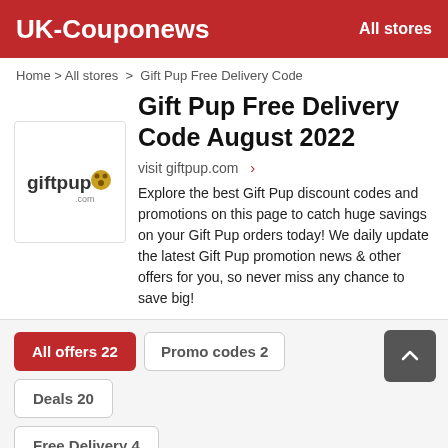UK-Couponews   All stores
Home > All stores > Gift Pup Free Delivery Code
Gift Pup Free Delivery Code August 2022
[Figure (logo): giftpup.com logo with paw icon]
visit giftpup.com >
Explore the best Gift Pup discount codes and promotions on this page to catch huge savings on your Gift Pup orders today! We daily update the latest Gift Pup promotion news & other offers for you, so never miss any chance to save big!
All offers 22
Promo codes 2
Deals 20
Free Delivery 4